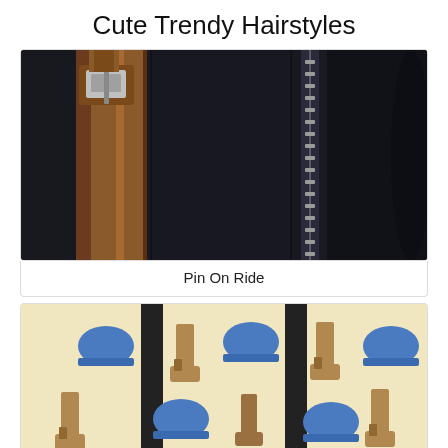Cute Trendy Hairstyles
[Figure (photo): Close-up of a black leather bag with tan/brown leather trim and metal zipper details]
Pin On Ride
[Figure (photo): A tote bag with a cream/beige background featuring a pattern of blue riding helmets and tan/brown riding boots]